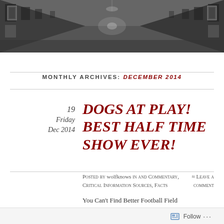[Figure (photo): Black and white photograph of a grand ornate corridor or hallway interior with chandeliers and framed artwork on walls, viewed from end perspective]
MONTHLY ARCHIVES: DECEMBER 2014
DOGS AT PLAY! BEST HALF TIME SHOW EVER!
19 Friday Dec 2014
Posted by wolfknows in and Commentary, Critical Information Sources, Facts
≈ Leave a comment
You Can't Find Better Football Field Entertainment:
Follow